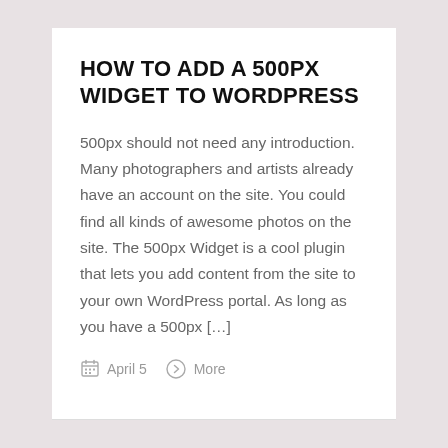HOW TO ADD A 500PX WIDGET TO WORDPRESS
500px should not need any introduction. Many photographers and artists already have an account on the site. You could find all kinds of awesome photos on the site. The 500px Widget is a cool plugin that lets you add content from the site to your own WordPress portal. As long as you have a 500px […]
April 5   More